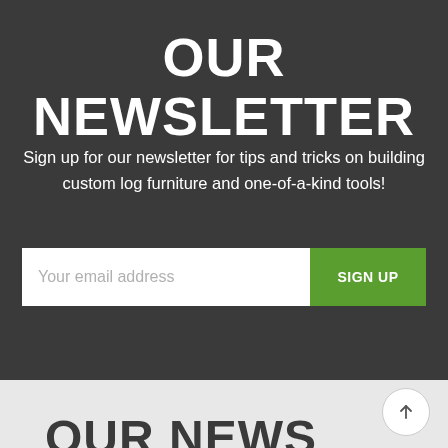OUR NEWSLETTER
Sign up for our newsletter for tips and tricks on building custom log furniture and one-of-a-kind tools!
Your email address
SIGN UP
OUR NEWS